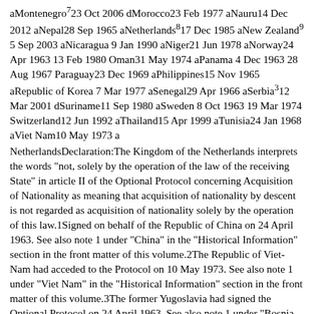aMontenegro<superscript>7</superscript>23 Oct 2006 dMorocco23 Feb 1977 aNauru14 Dec 2012 aNepal28 Sep 1965 aNetherlands<superscript>8</superscript>17 Dec 1985 aNew Zealand<superscript>9</superscript> 5 Sep 2003 aNicaragua 9 Jan 1990 aNiger21 Jun 1978 aNorway24 Apr 1963 13 Feb 1980 Oman31 May 1974 aPanama 4 Dec 1963 28 Aug 1967 Paraguay23 Dec 1969 aPhilippines15 Nov 1965 aRepublic of Korea 7 Mar 1977 aSenegal29 Apr 1966 aSerbia<superscript>3</superscript>12 Mar 2001 dSuriname11 Sep 1980 aSweden 8 Oct 1963 19 Mar 1974 Switzerland12 Jun 1992 aThailand15 Apr 1999 aTunisia24 Jan 1968 aViet Nam10 May 1973 a
NetherlandsDeclaration:The Kingdom of the Netherlands interprets the words "not, solely by the operation of the law of the receiving State" in article II of the Optional Protocol concerning Acquisition of Nationality as meaning that acquisition of nationality by descent is not regarded as acquisition of nationality solely by the operation of this law.1Signed on behalf of the Republic of China on 24 April 1963. See also note 1 under "China" in the "Historical Information" section in the front matter of this volume.2The Republic of Viet-Nam had acceded to the Protocol on 10 May 1973. See also note 1 under "Viet Nam" in the "Historical Information" section in the front matter of this volume.3The former Yugoslavia had signed the Optional Protocol on 24 April 1963. See also note 1 under "Bosnia and Herzegovina", "Croatia", "former Yugoslavia", "Slovenia", "The Former Yugoslav Republic of Macedonia" and "Yugoslavia" in the "Historical Information"